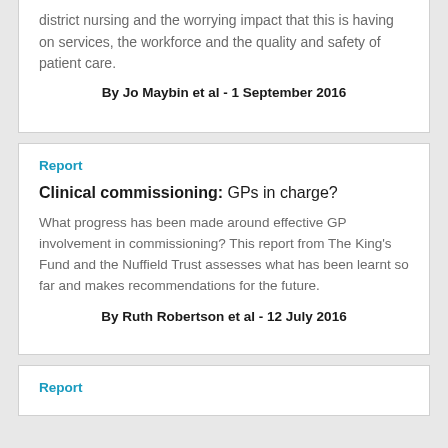district nursing and the worrying impact that this is having on services, the workforce and the quality and safety of patient care.
By Jo Maybin et al - 1 September 2016
Report
Clinical commissioning: GPs in charge?
What progress has been made around effective GP involvement in commissioning? This report from The King's Fund and the Nuffield Trust assesses what has been learnt so far and makes recommendations for the future.
By Ruth Robertson et al - 12 July 2016
Report